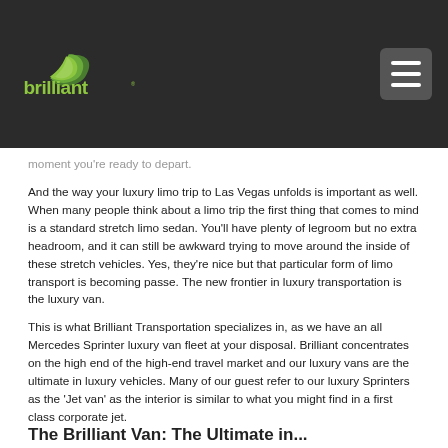brilliant
moment you're ready to depart.
And the way your luxury limo trip to Las Vegas unfolds is important as well. When many people think about a limo trip the first thing that comes to mind is a standard stretch limo sedan. You'll have plenty of legroom but no extra headroom, and it can still be awkward trying to move around the inside of these stretch vehicles. Yes, they're nice but that particular form of limo transport is becoming passe. The new frontier in luxury transportation is the luxury van.
This is what Brilliant Transportation specializes in, as we have an all Mercedes Sprinter luxury van fleet at your disposal. Brilliant concentrates on the high end of the high-end travel market and our luxury vans are the ultimate in luxury vehicles. Many of our guest refer to our luxury Sprinters as the 'Jet van' as the interior is similar to what you might find in a first class corporate jet.
The Brilliant Van: The Ultimate in...